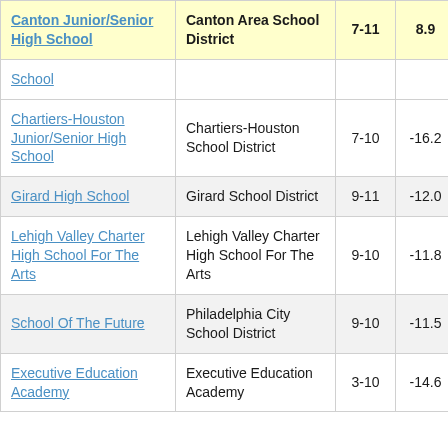| School | District | Grades | Score |  |
| --- | --- | --- | --- | --- |
| Canton Junior/Senior High School | Canton Area School District | 7-11 | 8.9 | 2 |
| School |  |  |  |  |
| Chartiers-Houston Junior/Senior High School | Chartiers-Houston School District | 7-10 | -16.2 |  |
| Girard High School | Girard School District | 9-11 | -12.0 |  |
| Lehigh Valley Charter High School For The Arts | Lehigh Valley Charter High School For The Arts | 9-10 | -11.8 |  |
| School Of The Future | Philadelphia City School District | 9-10 | -11.5 |  |
| Executive Education Academy | Executive Education Academy | 3-10 | -14.6 |  |